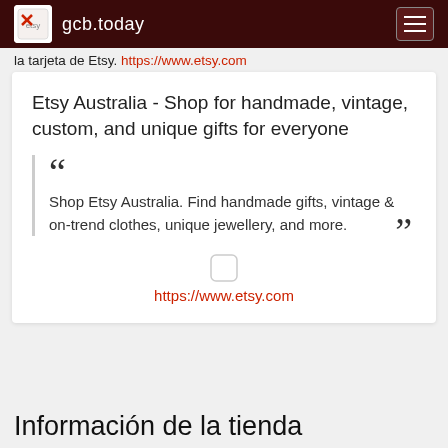gcb.today
la tarjeta de Etsy. https://www.etsy.com
Etsy Australia - Shop for handmade, vintage, custom, and unique gifts for everyone
“ Shop Etsy Australia. Find handmade gifts, vintage & on-trend clothes, unique jewellery, and more. ”
https://www.etsy.com
Información de la tienda